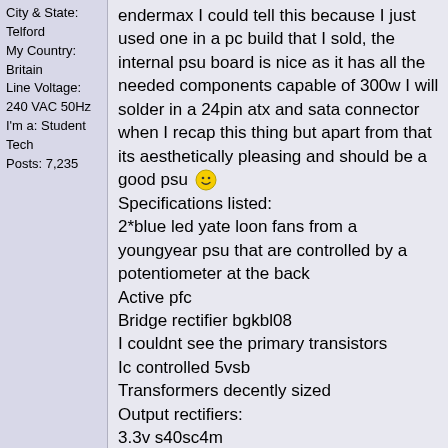City & State: Telford
My Country: Britain
Line Voltage: 240 VAC 50Hz
I'm a: Student Tech
Posts: 7,235
endermax I could tell this because I just used one in a pc build that I sold, the internal psu board is nice as it has all the needed components capable of 300w I will solder in a 24pin atx and sata connector when I recap this thing but apart from that its aesthetically pleasing and should be a good psu :) Specifications listed:
2*blue led yate loon fans from a youngyear psu that are controlled by a potentiometer at the back
Active pfc
Bridge rectifier bgkbl08
I couldnt see the primary transistors
Ic controlled 5vsb
Transformers decently sized
Output rectifiers:
3.3v s40sc4m
5v s40sc4m
12v s3040pt
Output capacitors:
3.3v 1*3300uf 10v pcetur
1*2200uf 10v pce tur
5v 1*3300uf 10v pcetur